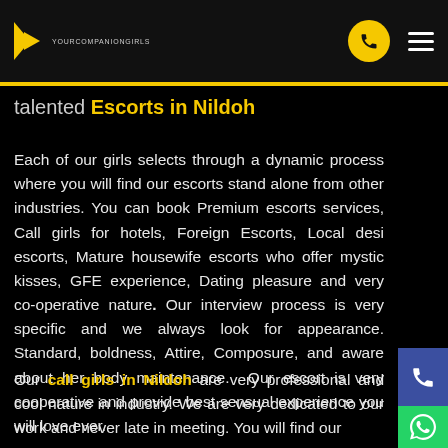YOURCOMPANIONGIRLS [logo/nav bar]
talented Escorts in Nildoh
Each of our girls selects through a dynamic process where you will find our escorts stand alone from other industries. You can book Premium escorts services, Call girls for hotels, Foreign Escorts, Local desi escorts, Mature housewife escorts who offer mystic kisses, GFE experience, Dating pleasure and very co-operative nature. Our interview process is very specific and we always look for appearance. Standard, boldness, Attire, Composure, and aware about her body maintenance. Our escort is very cooperative and provide best sensual experience you will love ever.
Our call girls in Nildoh are very professional and cool nature in industry. We are very dedicated to our work and never late in meeting. You will find our